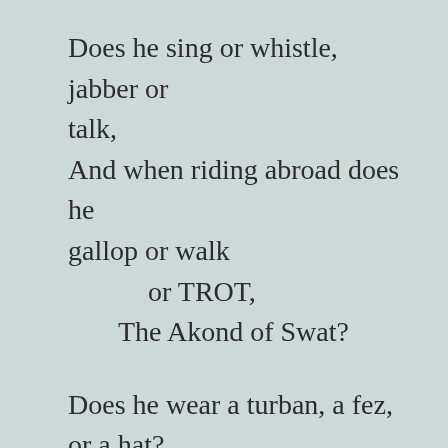Does he sing or whistle, jabber or talk,
And when riding abroad does he gallop or walk
    or TROT,
  The Akond of Swat?

Does he wear a turban, a fez, or a hat?
Does he sleep on a mattress, a bed, or a mat,
    or COT,